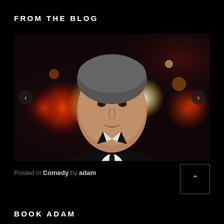FROM THE BLOG
[Figure (photo): Headshot of a middle-aged man in a black suit and tie with white shirt, bokeh city lights background]
Posted in Comedy by adam
BOOK ADAM